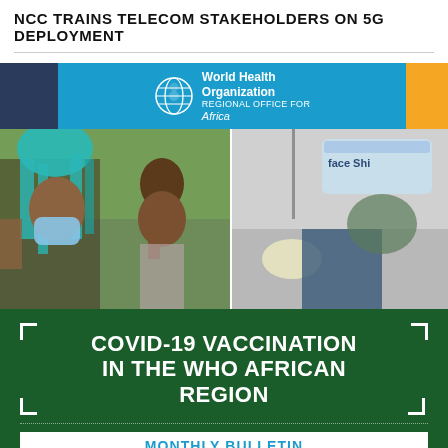NCC TRAINS TELECOM STAKEHOLDERS ON 5G DEPLOYMENT
[Figure (infographic): WHO Africa banner with dark blue left block, teal/cyan center block with World Health Organization Africa logo and globe emblem, and orange right block]
[Figure (photo): Left photo: Two African women wearing face masks outdoors, one with teal braids. Right photo: A healthcare worker wearing a face shield labeled 'face shield' in close-up.]
[Figure (infographic): Dark green background panel with white bracket-framed text reading 'COVID-19 VACCINATION IN THE WHO AFRICAN REGION', dotted separator line, white 'MONTHLY BULLETIN' bar in cyan text, and 'MARCH 2022' text below in white letter-spaced text.]
VACCINE